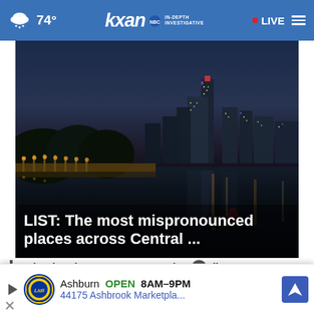74° | KXAN IN-DEPTH INVESTIGATIVE | LIVE
[Figure (photo): Nighttime cityscape of Austin, Texas with illuminated skyline reflected in Lady Bird Lake, featuring a lit pedestrian bridge in the foreground]
LIST: The most mispronounced places across Central ...
Kyle Rittenhouse a passenger in Texas traffic stop
10 s... around Austin
Ashburn OPEN 8AM–9PM 44175 Ashbrook Marketpla...